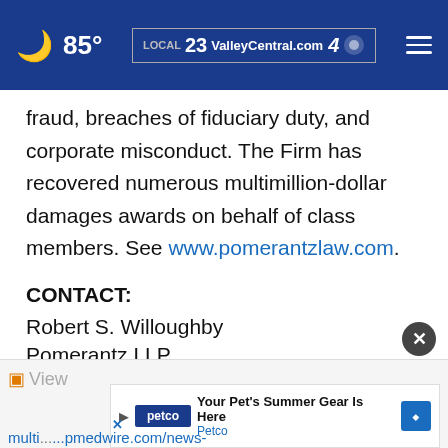85° | ValleyCentral.com | Local 23 | Channel 4
fraud, breaches of fiduciary duty, and corporate misconduct. The Firm has recovered numerous multimillion-dollar damages awards on behalf of class members. See www.pomerantzlaw.com.
CONTACT:
Robert S. Willoughby
Pomerantz LLP
rswilloughby@pomlaw.com
View original content: https://www.newswire.com/news- multimediarelease... Your Pet's Summer Gear Is Here - Petco